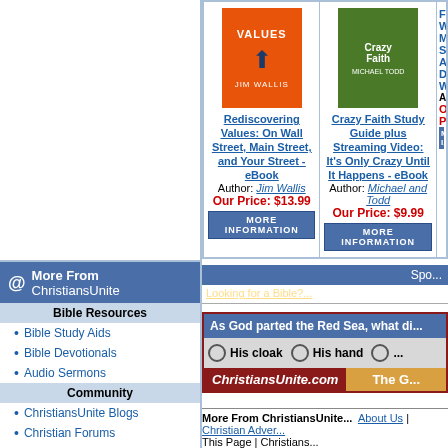[Figure (illustration): Book cover: Rediscovering Values: On Wall Street, Main Street, and Your Street - eBook (orange cover with arrow icon, by Jim Wallis)]
Rediscovering Values: On Wall Street, Main Street, and Your Street - eBook
Author: Jim Wallis
Our Price: $13.99
MORE INFORMATION
[Figure (illustration): Book cover: Crazy Faith Study Guide plus Streaming Video: It's Only Crazy Until It Happens - eBook (green cover, by Michael and Todd)]
Crazy Faith Study Guide plus Streaming Video: It's Only Crazy Until It Happens - eBook
Author: Michael and Todd
Our Price: $9.99
MORE INFORMATION
From W... Main S... Ameri... Destr... Withi...
Author:
Our Pr...
MORE I...
More From ChristiansUnite
Bible Resources
Bible Study Aids
Bible Devotionals
Audio Sermons
Community
ChristiansUnite Blogs
Christian Forums
Facebook Apps
Web Search
Christian Family Sites
Top Christian Sites
Christian RSS Feeds
Family Life
Christian Finance
ChristiansUnite KIDS
Spo...
Looking for a Bible?...
As God parted the Red Sea, what di...
His cloak   His hand   ...
ChristiansUnite.com   The G...
More From ChristiansUnite...   About Us | Christian Adver...
This Page | Christians...